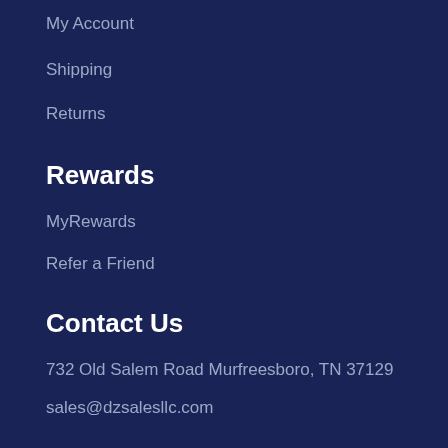My Account
Shipping
Returns
Rewards
MyRewards
Refer a Friend
Contact Us
732 Old Salem Road Murfreesboro, TN 37129
sales@dzsalesllc.com
615-893-8508
Be in the know